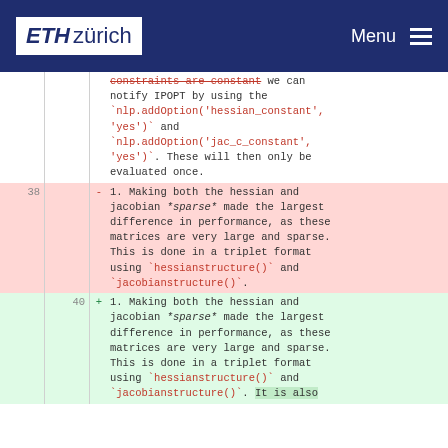ETH zürich  Menu
constraints are constant we can notify IPOPT by using the `nlp.addOption('hessian_constant', 'yes')` and `nlp.addOption('jac_c_constant', 'yes')`. These will then only be evaluated once.
38 - 1. Making both the hessian and jacobian *sparse* made the largest difference in performance, as these matrices are very large and sparse. This is done in a triplet format using `hessianstructure()` and `jacobianstructure()`.
40 + 1. Making both the hessian and jacobian *sparse* made the largest difference in performance, as these matrices are very large and sparse. This is done in a triplet format using `hessianstructure()` and `jacobianstructure()`. It is also